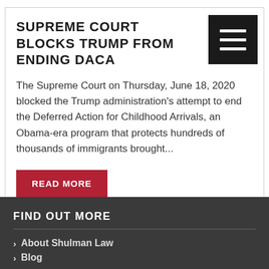SUPREME COURT BLOCKS TRUMP FROM ENDING DACA
The Supreme Court on Thursday, June 18, 2020 blocked the Trump administration's attempt to end the Deferred Action for Childhood Arrivals, an Obama-era program that protects hundreds of thousands of immigrants brought...
READ MORE
FIND OUT MORE
About Shulman Law
Blog